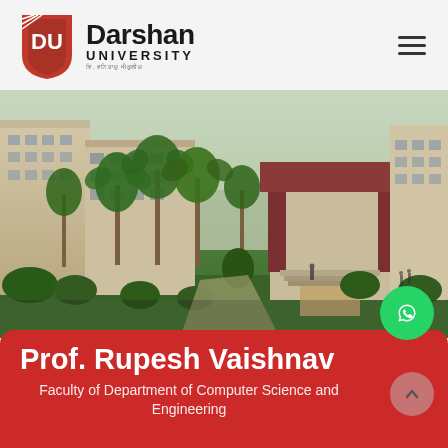Darshan University
[Figure (photo): Aerial/elevated view of Darshan University campus buildings with palm trees, manicured lawns, and a main entrance canopy with red brick pillars. The buildings are multi-storey beige/sandstone colored structures.]
Prof. Rupesh Vaishnav
Faculty of Department of Computer Science and Engineering